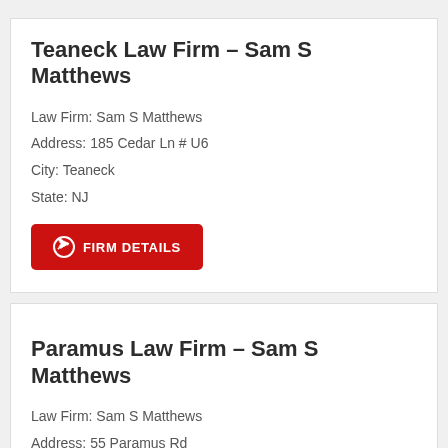Teaneck Law Firm – Sam S Matthews
Law Firm: Sam S Matthews
Address: 185 Cedar Ln # U6
City: Teaneck
State: NJ
FIRM DETAILS
Paramus Law Firm – Sam S Matthews
Law Firm: Sam S Matthews
Address: 55 Paramus Rd
City: Paramus
State: NJ
FIRM DETAILS